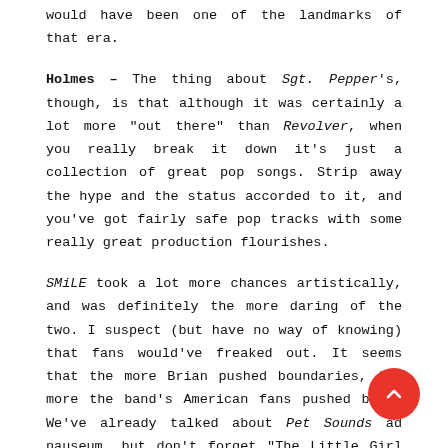would have been one of the landmarks of that era.
Holmes – The thing about Sgt. Pepper's, though, is that although it was certainly a lot more "out there" than Revolver, when you really break it down it's just a collection of great pop songs. Strip away the hype and the status accorded to it, and you've got fairly safe pop tracks with some really great production flourishes.
SMiLE took a lot more chances artistically, and was definitely the more daring of the two. I suspect (but have no way of knowing) that fans would've freaked out. It seems that the more Brian pushed boundaries, the more the band's American fans pushed back. We've already talked about Pet Sounds ad nauseum, but don't forget "The Little Girl I Once Knew." Yeah it hit #20 but it was a huge dropoff from their other '65 singles. And it wasn't